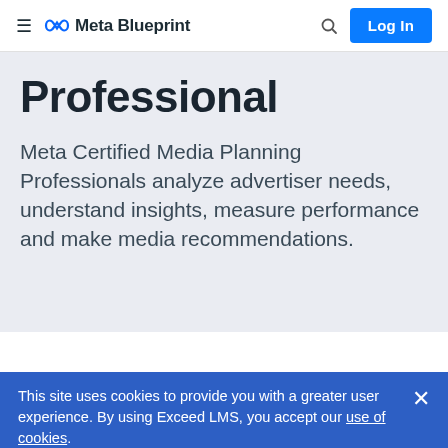Meta Blueprint — Log In
Professional
Meta Certified Media Planning Professionals analyze advertiser needs, understand insights, measure performance and make media recommendations.
This site uses cookies to provide you with a greater user experience. By using Exceed LMS, you accept our use of cookies.